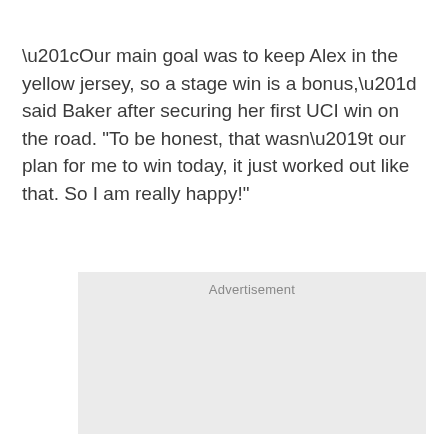“Our main goal was to keep Alex in the yellow jersey, so a stage win is a bonus,” said Baker after securing her first UCI win on the road. “To be honest, that wasn’t our plan for me to win today, it just worked out like that. So I am really happy!”
[Figure (other): Advertisement placeholder box with light grey background and the label 'Advertisement' centered at the top.]